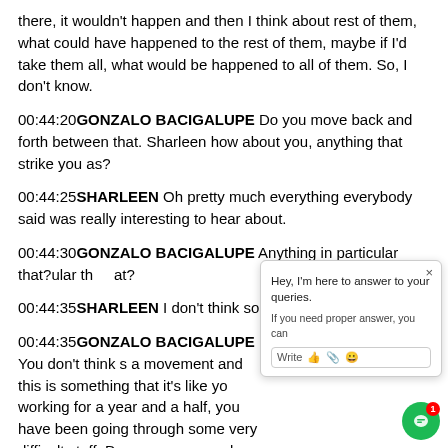there, it wouldn't happen and then I think about rest of them, what could have happened to the rest of them, maybe if I'd take them all, what would be happened to all of them. So, I don't know.
00:44:20GONZALO BACIGALUPE Do you move back and forth between that. Sharleen how about you, anything that strike you as?
00:44:25SHARLEEN Oh pretty much everything everybody said was really interesting to hear about.
00:44:30GONZALO BACIGALUPE Anything in particular that?
00:44:35SHARLEEN I don't think so.
00:44:35GONZALO BACIGALUPE You don't think s a movement and this is something that it's like yo working for a year and a half, you have been going through some very difficult stuff. Do you see yourselves and maybe you can imagine your siblings thinking about this. Having other, so like very difficult conversations therapy. I